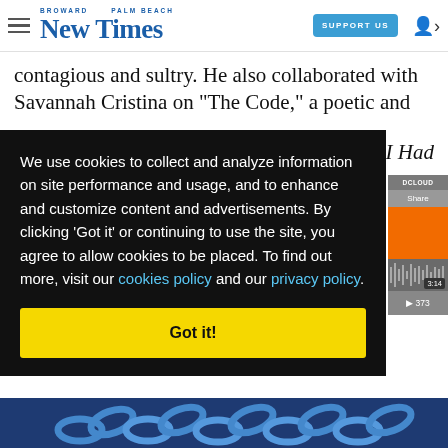Broward Palm Beach New Times — SUPPORT US
contagious and sultry. He also collaborated with Savannah Cristina on "The Code," a poetic and
I Had
We use cookies to collect and analyze information on site performance and usage, and to enhance and customize content and advertisements. By clicking 'Got it' or continuing to use the site, you agree to allow cookies to be placed. To find out more, visit our cookies policy and our privacy policy.
Got it!
[Figure (screenshot): SoundCloud embedded player widget showing orange album art, waveform, 3:14 duration and 373 plays]
[Figure (photo): Blue chain links at the bottom of the page]